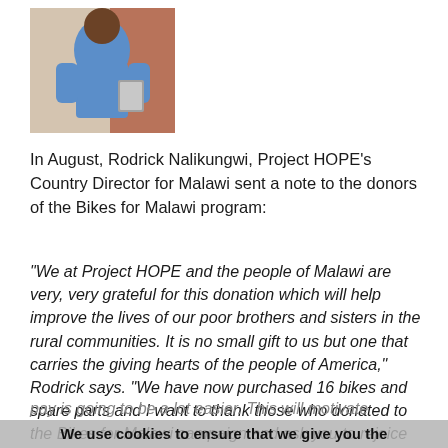[Figure (photo): A man in a blue polo shirt standing outdoors near a brick wall, holding what appears to be a folder or book.]
In August, Rodrick Nalikungwi, Project HOPE’s Country Director for Malawi sent a note to the donors of the Bikes for Malawi program:
“We at Project HOPE and the people of Malawi are very, very grateful for this donation which will help improve the lives of our poor brothers and sisters in the rural communities. It is no small gift to us but one that carries the giving hearts of the people of America,” Rodrick says. “We have now purchased 16 bikes and spare parts and I want to thank those who donated to the Bikes for Malawi campaign and ask you to rejoice with us that the work of the many people who have volunteered to serve others for no pay is going to be a lot easier. This will motivate
We use cookies to ensure that we give you the